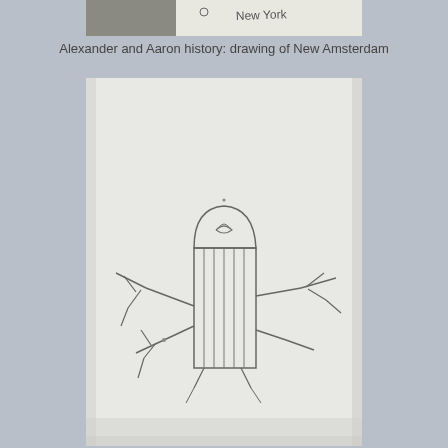[Figure (photo): Top portion of a child's drawing showing text 'New York' written in pencil on white paper]
Alexander and Aaron history: drawing of New Amsterdam
[Figure (illustration): Child's pencil drawing on white paper showing a windmill with arms/sails extending outward, a rounded top with swirl decoration, rectangular body with vertical lines, and stick-like arms branching out to the sides]